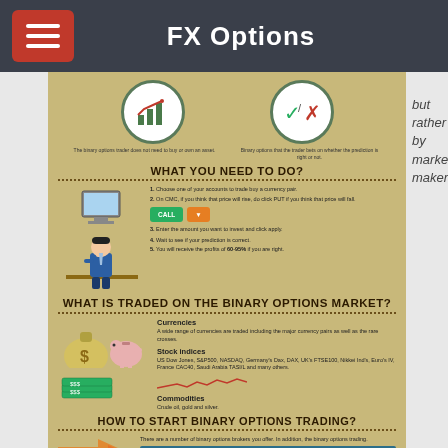FX Options
but rather by market makers.
[Figure (infographic): Binary options infographic showing what you need to do, what is traded on the binary options market, and how to start binary options trading. Includes icons, step-by-step instructions, sections on currencies, stock indices, commodities, and how to start trading.]